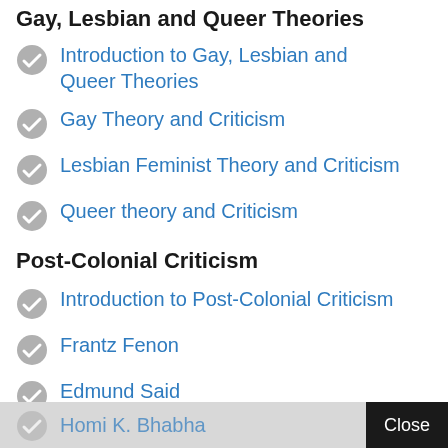Gay, Lesbian and Queer Theories
Introduction to Gay, Lesbian and Queer Theories
Gay Theory and Criticism
Lesbian Feminist Theory and Criticism
Queer theory and Criticism
Post-Colonial Criticism
Introduction to Post-Colonial Criticism
Frantz Fenon
Edmund Said
Gayatri Spivak
Homi K. Bhabha